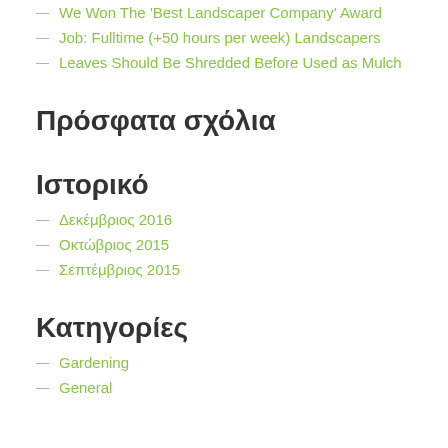We Won The 'Best Landscaper Company' Award
Job: Fulltime (+50 hours per week) Landscapers
Leaves Should Be Shredded Before Used as Mulch
Πρόσφατα σχόλια
Ιστορικό
Δεκέμβριος 2016
Οκτώβριος 2015
Σεπτέμβριος 2015
Κατηγορίες
Gardening
General